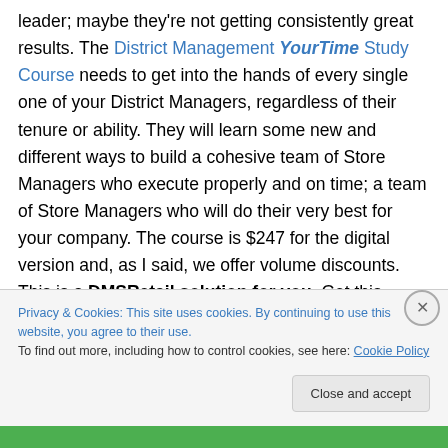leader; maybe they're not getting consistently great results. The District Management YourTime Study Course needs to get into the hands of every single one of your District Managers, regardless of their tenure or ability. They will learn some new and different ways to build a cohesive team of Store Managers who execute properly and on time; a team of Store Managers who will do their very best for your company. The course is $247 for the digital version and, as I said, we offer volume discounts. This is a DMSRetail solution for you. Get this resource into their hands and watch things get better.
Privacy & Cookies: This site uses cookies. By continuing to use this website, you agree to their use. To find out more, including how to control cookies, see here: Cookie Policy